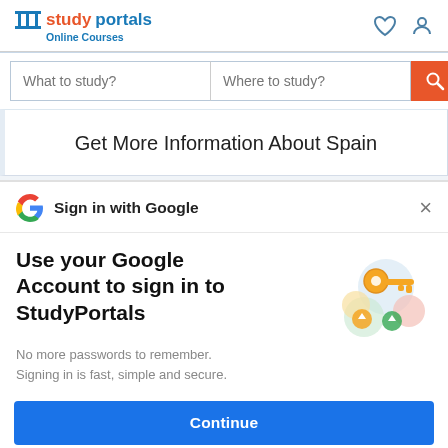studyportals Online Courses
What to study?  Where to study?
Get More Information About Spain
Sign in with Google
Use your Google Account to sign in to StudyPortals
No more passwords to remember. Signing in is fast, simple and secure.
Continue